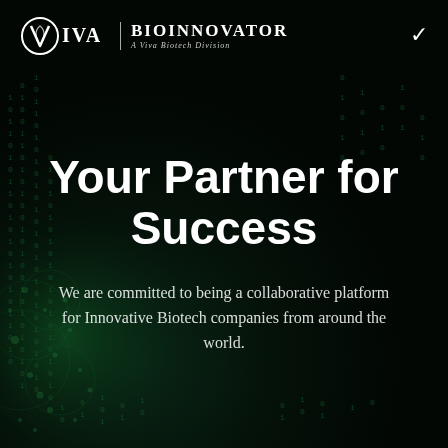[Figure (logo): Viva BioInnovator logo — a stylized V/leaf symbol with VIVA text, pipe separator, then BIOINNOVATOR in bold uppercase, subtitle: A Viva Biotech Division]
Your Partner for Success
We are committed to being a collaborative platform for Innovative Biotech companies from around the world.